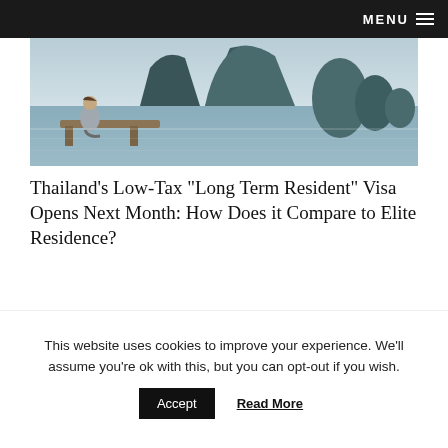MENU
[Figure (photo): Man sitting on a wooden platform overlooking dramatic karst limestone islands in misty sea, Thailand landscape]
Thailand's Low-Tax “Long Term Resident” Visa Opens Next Month: How Does it Compare to Elite Residence?
[Figure (logo): IMI Connect logo on a sunset/orange background — black square with green vertical bars forming letters I M I, with text CONNECT below]
This website uses cookies to improve your experience. We’ll assume you’re ok with this, but you can opt-out if you wish.
Accept   Read More